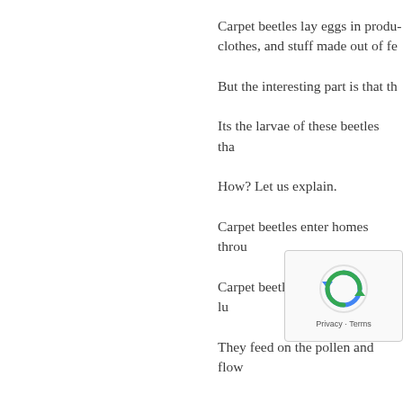Carpet beetles lay eggs in produ… clothes, and stuff made out of fe…
But the interesting part is that th…
Its the larvae of these beetles tha…
How? Let us explain.
Carpet beetles enter homes throu…
Carpet beetles are common in lu…
They feed on the pollen and flow…
They enter homes du…
And the reason they enter the ho…